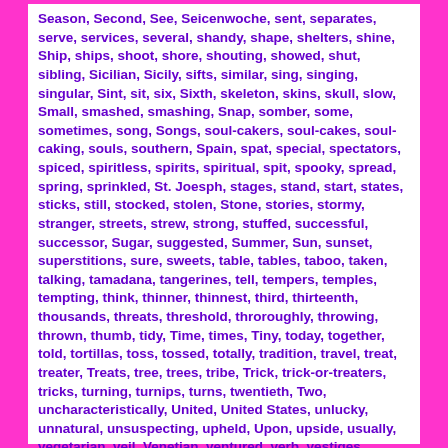Season, Second, See, Seicenwoche, sent, separates, serve, services, several, shandy, shape, shelters, shine, Ship, ships, shoot, shore, shouting, showed, shut, sibling, Sicilian, Sicily, sifts, similar, sing, singing, singular, Sint, sit, six, Sixth, skeleton, skins, skull, slow, Small, smashed, smashing, Snap, somber, some, sometimes, song, Songs, soul-cakers, soul-cakes, soul-caking, souls, southern, Spain, spat, special, spectators, spiced, spiritless, spirits, spiritual, spit, spooky, spread, spring, sprinkled, St. Joesph, stages, stand, start, states, sticks, still, stocked, stolen, Stone, stories, stormy, stranger, streets, strew, strong, stuffed, successful, successor, Sugar, suggested, Summer, Sun, sunset, superstitions, sure, sweets, table, tables, taboo, taken, talking, tamadana, tangerines, tell, tempers, temples, tempting, think, thinner, thinnest, third, thirteenth, thousands, threats, threshold, throroughly, throwing, thrown, thumb, tidy, Time, times, Tiny, today, together, told, tortillas, toss, tossed, totally, tradition, travel, treat, treater, Treats, tree, trees, tribe, Trick, trick-or-treaters, tricks, turning, turnips, turns, twentieth, Two, uncharacteristically, United, United States, unlucky, unnatural, unsuspecting, upheld, Upon, upside, usually, vegetarian, veil, Venetian, ventured, verb, vestiges, Vietnamese, Vigil, village, villagers', violets, visit, votive, Vu-Lan, wake, Wales, walk, walking, wander, wandering, warmth, warning, wash, Water, Way, weddings, week,